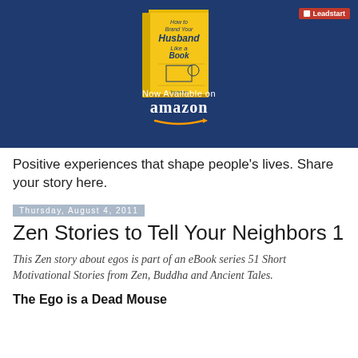[Figure (illustration): Dark navy blue banner showing a yellow book cover titled 'How to Brand Your Husband Like a Book' available on Amazon, with Leadstart logo badge in top right corner. Text below book reads 'Now Available on amazon' with Amazon arrow logo.]
Positive experiences that shape people's lives. Share your story here.
Thursday, August 4, 2011
Zen Stories to Tell Your Neighbors 1
This Zen story about egos is part of an eBook series 51 Short Motivational Stories from Zen, Buddha and Ancient Tales.
The Ego is a Dead Mouse